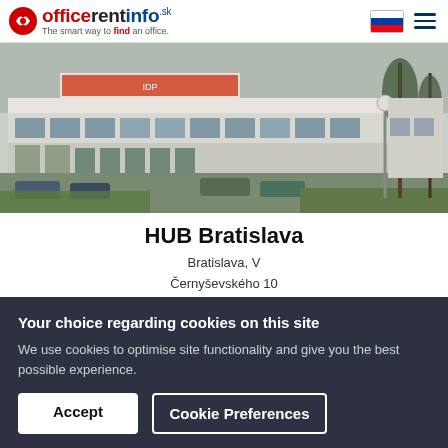officerentinfo.sk — The smart way to find an office.
[Figure (photo): Exterior photo of HUB Bratislava office building with parking lot and trees in foreground.]
HUB Bratislava
Bratislava, V
Černyševského 10
Available : 13 - 409 m²
Your choice regarding cookies on this site
We use cookies to optimise site functionality and give you the best possible experience.
Accept
Cookie Preferences